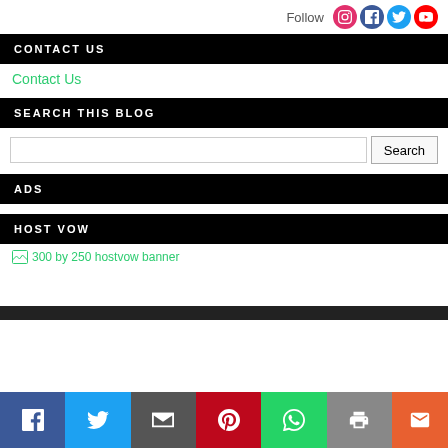Follow [Instagram] [Facebook] [Twitter] [YouTube]
CONTACT US
Contact Us
SEARCH THIS BLOG
[Search input] Search
ADS
HOST VOW
[Figure (other): 300 by 250 hostvow banner (broken image)]
[Facebook] [Twitter] [Email] [Pinterest] [WhatsApp] [Print] [Mail]